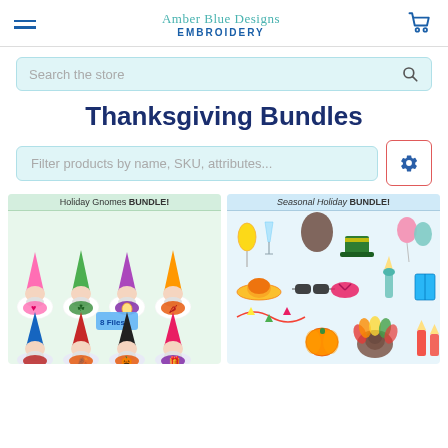Amber Blue Designs Embroidery – navigation header with hamburger menu and cart icon
Search the store
Thanksgiving Bundles
Filter products by name, SKU, attributes...
[Figure (screenshot): Holiday Gnomes BUNDLE! – colorful embroidery gnome designs with 8 files]
[Figure (screenshot): Seasonal Holiday BUNDLE! – colorful seasonal holiday embroidery icons]